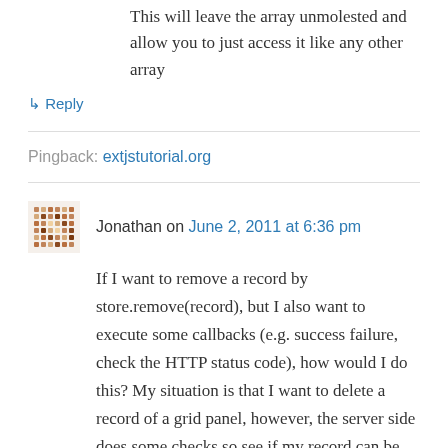This will leave the array unmolested and allow you to just access it like any other array
↳ Reply
Pingback: extjstutorial.org
Jonathan on June 2, 2011 at 6:36 pm
If I want to remove a record by store.remove(record), but I also want to execute some callbacks (e.g. success failure, check the HTTP status code), how would I do this? My situation is that I want to delete a record of a grid panel, however, the server side does some checks so see if my record can be deleted (it checks permissions and also record integrity –